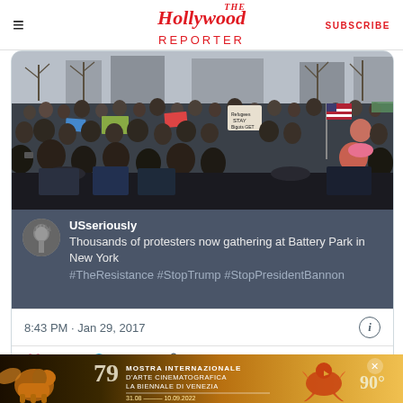The Hollywood Reporter | SUBSCRIBE
[Figure (screenshot): Screenshot of a tweet from @USseriously showing a protest photo. The photo shows thousands of protesters at Battery Park, New York, with signs reading 'Refugees STAY Bigots GET OUT'. The tweet text reads: 'Thousands of protesters now gathering at Battery Park in New York #TheResistance #StopTrump #StopPresidentBannon'. Timestamp: 8:43 PM · Jan 29, 2017. Likes: 1.9K. Actions: Reply, Copy link.]
[Figure (photo): Advertisement banner for Mostra Internazionale D'Arte Cinematografica - La Biennale di Venezia 79, 31.08 - 10.09.2022, 90°]